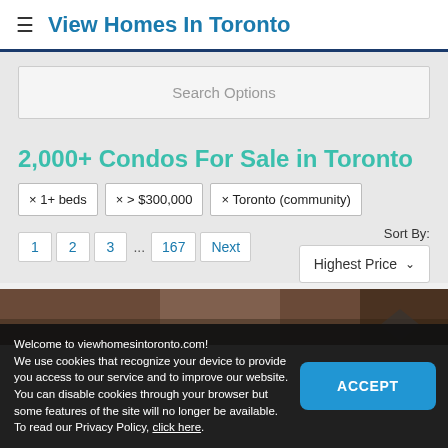View Homes In Toronto
Search Options
2,000+ Condos For Sale in Toronto
× 1+ beds
× > $300,000
× Toronto (community)
Sort By: Highest Price
1  2  3  ...  167  Next
[Figure (photo): Interior photo of a condo showing dark wood cabinetry and modern finishes]
Welcome to viewhomesintoronto.com!
We use cookies that recognize your device to provide you access to our service and to improve our website. You can disable cookies through your browser but some features of the site will no longer be available. To read our Privacy Policy, click here.